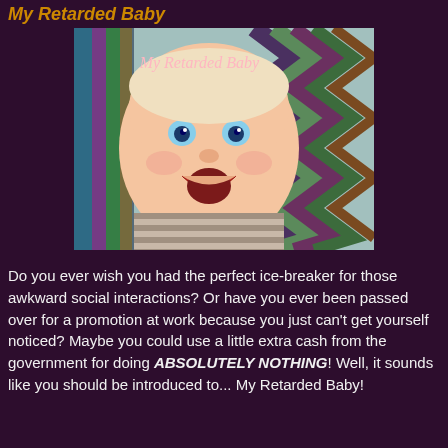My Retarded Baby
[Figure (photo): Photo of a smiling baby with blue eyes lying on a colorful chevron-patterned blanket. Text overlay reads 'My Retarded Baby' in pink italic script.]
Do you ever wish you had the perfect ice-breaker for those awkward social interactions? Or have you ever been passed over for a promotion at work because you just can't get yourself noticed? Maybe you could use a little extra cash from the government for doing ABSOLUTELY NOTHING! Well, it sounds like you should be introduced to... My Retarded Baby!